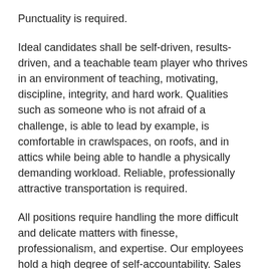Punctuality is required.
Ideal candidates shall be self-driven, results-driven, and a teachable team player who thrives in an environment of teaching, motivating, discipline, integrity, and hard work. Qualities such as someone who is not afraid of a challenge, is able to lead by example, is comfortable in crawlspaces, on roofs, and in attics while being able to handle a physically demanding workload. Reliable, professionally attractive transportation is required.
All positions require handling the more difficult and delicate matters with finesse, professionalism, and expertise. Our employees hold a high degree of self-accountability. Sales of services and acquiring client reviews, while growing our referral base, are obtained with an engaged and motivated inspector. Our inspectors shall possess a willingness to teach others and brings a positive approach to challenges faced in the field.